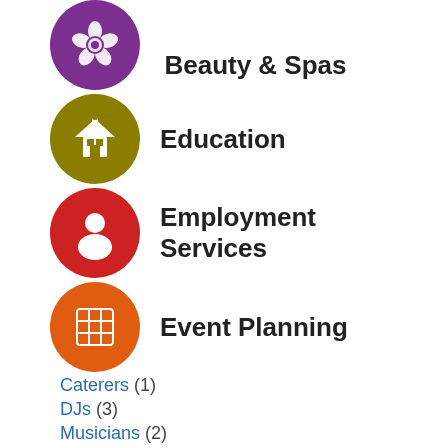[Figure (illustration): Purple circle icon with white rose/flower design for Beauty & Spas category]
Beauty & Spas
[Figure (illustration): Olive/dark yellow circle icon with white building/school design for Education category]
Education
[Figure (illustration): Red circle icon with white person/user silhouette for Employment Services category]
Employment Services
[Figure (illustration): Orange circle icon with grid/calendar design for Event Planning category]
Event Planning
Caterers (1)
DJs (3)
Musicians (2)
Photographers (1)
Videographers (1)
View all »
[Figure (illustration): Magenta/pink circle icon with white dollar sign for Financial Services category (partially visible)]